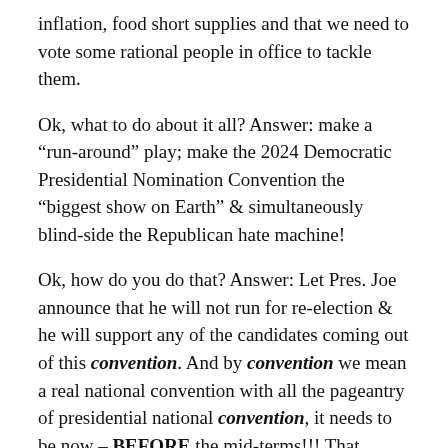inflation, food short supplies and that we need to vote some rational people in office to tackle them.
Ok, what to do about it all? Answer: make a “run-around” play; make the 2024 Democratic Presidential Nomination Convention the “biggest show on Earth” & simultaneously blind-side the Republican hate machine!
Ok, how do you do that? Answer: Let Pres. Joe announce that he will not run for re-election & he will support any of the candidates coming out of this convention. And by convention we mean a real national convention with all the pageantry of presidential national convention, it needs to be now – BEFORE the mid-terms!!! That deflates all the hype about usual mid-term swings. Look, Joe’s old, people are scared (more on that later), Republicans via FOX et al. propaganda have invested all their hate